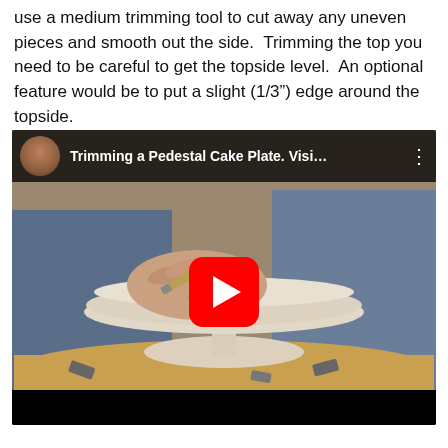use a medium trimming tool to cut away any uneven pieces and smooth out the side.  Trimming the top you need to be careful to get the topside level.  An optional feature would be to put a slight (1/3") edge around the topside.
[Figure (screenshot): YouTube video thumbnail showing hands trimming a pedestal cake plate on a pottery wheel. Video title: 'Trimming a Pedestal Cake Plate. Visi…' with a red play button in the center.]